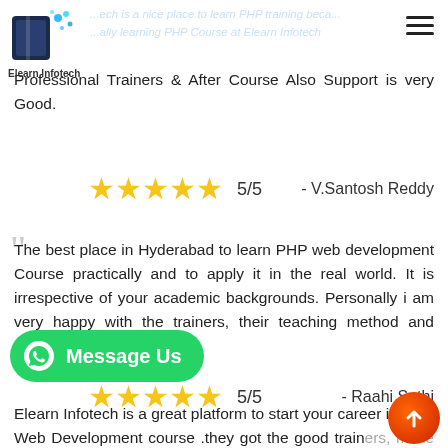[Figure (logo): Elearn Infotech logo with book and digital dots icon, text 'Elearn Infotech' below]
...ech is a nice place to learn PHP training beca... ...ally learning PHP Course at Elearn Infotech Professional Trainers & After Course Also Support is very Good.
5/5   - V.Santosh Reddy
The best place in Hyderabad to learn PHP web development Course practically and to apply it in the real world. It is irrespective of your academic backgrounds. Personally i am very happy with the trainers, their teaching method and management is good.
5/5   - Raahi Sethi
[Figure (logo): WhatsApp Message Us green button]
Elearn Infotech is a great platform to start your career in PHP Web Development course .they got the good train... make sure you had got everything. highly recommended.